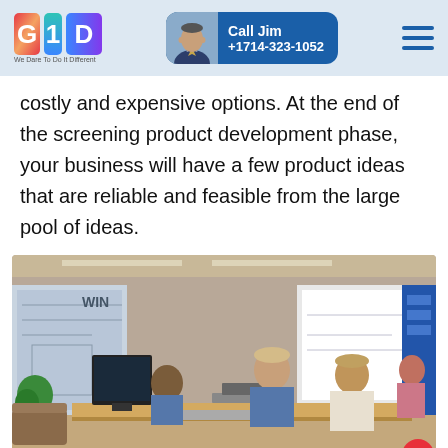GID — We Dare To Do It Different | Call Jim +1714-323-1052
costly and expensive options. At the end of the screening product development phase, your business will have a few product ideas that are reliable and feasible from the large pool of ideas.
[Figure (photo): Office workspace photo showing people working at a long desk with monitors and laptops in a modern open-plan office with exposed ceiling and brick walls]